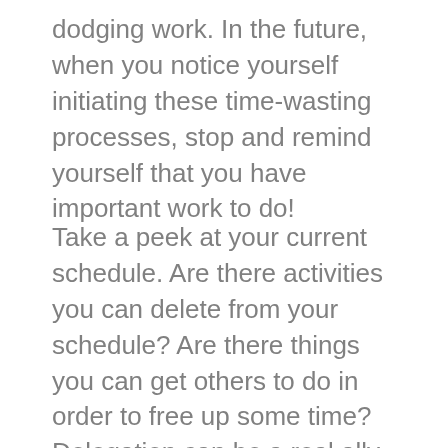dodging work. In the future, when you notice yourself initiating these time-wasting processes, stop and remind yourself that you have important work to do!
Take a peek at your current schedule. Are there activities you can delete from your schedule? Are there things you can get others to do in order to free up some time? Delegation can be a real ally when it comes to managing time. When you delegate, you let other people take on some responsibilities.